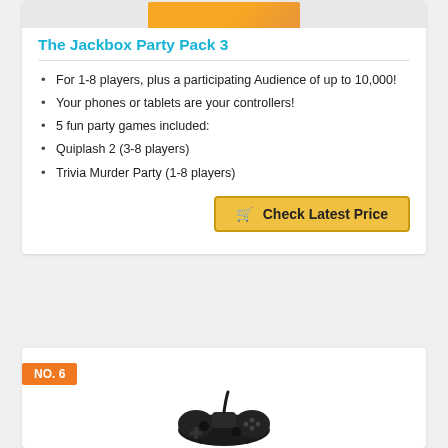[Figure (photo): Product image strip showing orange Jackbox Party Pack 3 box at top of card]
The Jackbox Party Pack 3
For 1-8 players, plus a participating Audience of up to 10,000!
Your phones or tablets are your controllers!
5 fun party games included:
Quiplash 2 (3-8 players)
Trivia Murder Party (1-8 players)
🛒 Check Latest Price
NO. 6
[Figure (photo): Black game controller (gamepad) photographed from above against white background, with cable visible at top]